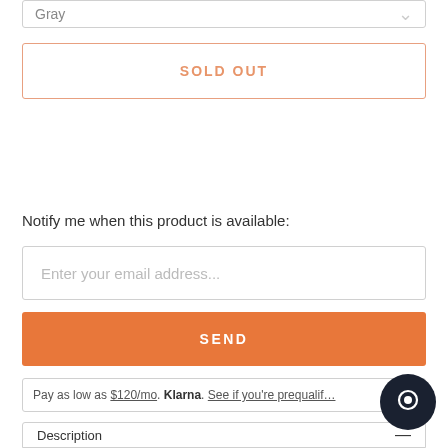Gray
SOLD OUT
Notify me when this product is available:
Enter your email address...
SEND
Pay as low as $120/mo. Klarna. See if you're prequalified.
Description